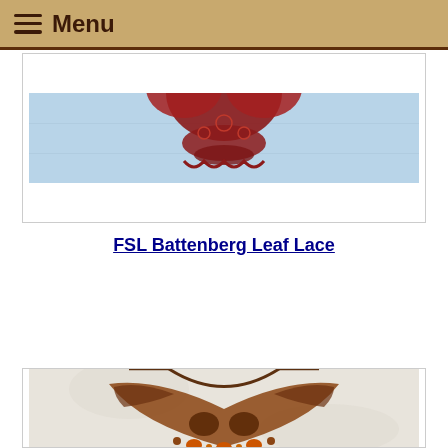≡ Menu
[Figure (photo): Red crochet or lace heart piece on a light blue fabric background, partially cropped at top]
FSL Battenberg Leaf Lace
[Figure (photo): Brown beaded lace necklace with orange/amber stones on a light floral background]